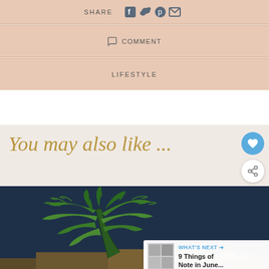SHARE
COMMENT
LIFESTYLE
You may also like ...
[Figure (photo): Green fern/plant leaves against a dark navy blue background with soil/roots visible at the bottom]
WHAT'S NEXT → 9 Things of Note in June...
Learn the signs to prevent school shootings. Sandy Hook Promise